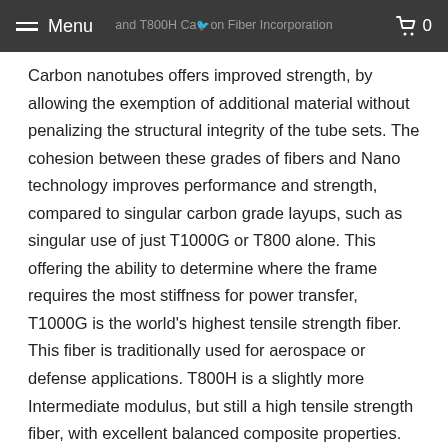Menu | and T800H Carbon Fiber Incorporation | 0
Carbon nanotubes offers improved strength, by allowing the exemption of additional material without penalizing the structural integrity of the tube sets. The cohesion between these grades of fibers and Nano technology improves performance and strength, compared to singular carbon grade layups, such as singular use of just T1000G or T800 alone. This offering the ability to determine where the frame requires the most stiffness for power transfer, T1000G is the world's highest tensile strength fiber. This fiber is traditionally used for aerospace or defense applications. T800H is a slightly more Intermediate modulus, but still a high tensile strength fiber, with excellent balanced composite properties. T800H is the ideal grade to promote lateral stiffness while